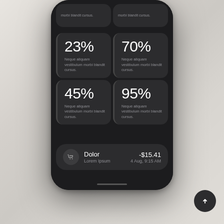[Figure (screenshot): Mobile phone screenshot showing a dark-themed app with four statistics cards (23%, 70%, 45%, 95%) each with placeholder text 'Neque aliquam vestibulum morbi blandit cursus', and a transaction row showing 'Dolor / Lorem Ipsum' with amount '-$15.41' and date '4 Aug, 9:15 AM'. Two truncated cards visible at top.]
23%
Neque aliquam vestibulum morbi blandit cursus.
70%
Neque aliquam vestibulum morbi blandit cursus.
45%
Neque aliquam vestibulum morbi blandit cursus.
95%
Neque aliquam vestibulum morbi blandit cursus.
Dolor
Lorem Ipsum
-$15.41
4 Aug, 9:15 AM